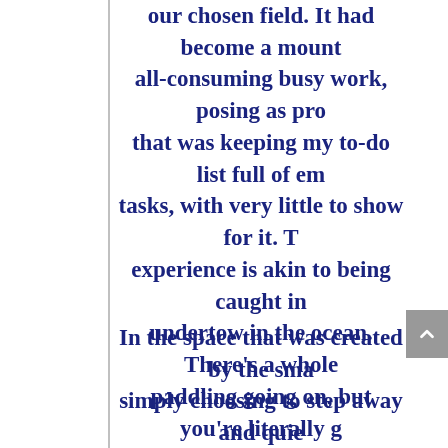our chosen field. It had become a mount all-consuming busy work, posing as pro that was keeping my to-do list full of em tasks, with very little to show for it. T experience is akin to being caught in undertow in the ocean. There's a whole paddling going on, but you're literally g nowhere.
In the space that was created by the sma simply choosing to step away and quie mind, I experienced enormous relief. I ha known that social media, as a whole, become a source of distraction for me and risk of sounding dramatic, it has slowly